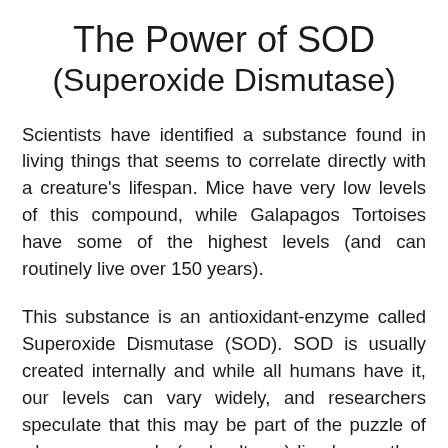The Power of SOD (Superoxide Dismutase)
Scientists have identified a substance found in living things that seems to correlate directly with a creature's lifespan. Mice have very low levels of this compound, while Galapagos Tortoises have some of the highest levels (and can routinely live over 150 years).
This substance is an antioxidant-enzyme called Superoxide Dismutase (SOD). SOD is usually created internally and while all humans have it, our levels can vary widely, and researchers speculate that this may be part of the puzzle of why some people (and cultures) live longer than others.